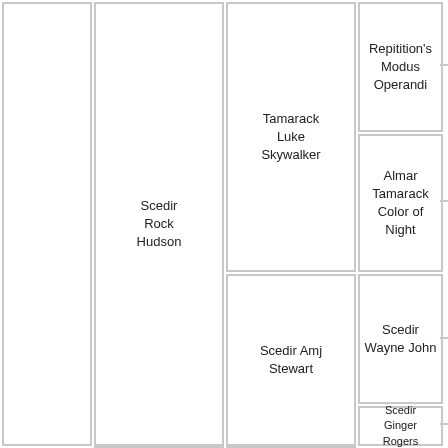[Figure (organizational-chart): Genealogy/pedigree chart showing ancestry tree with nodes: Scedir Rock Hudson, Tamarack Luke Skywalker, Scedir Amj Stewart, Repitition's Modus Operandi, Almar Tamarack Color of Night, Scedir Wayne John, Scedir Ginger Rogers]